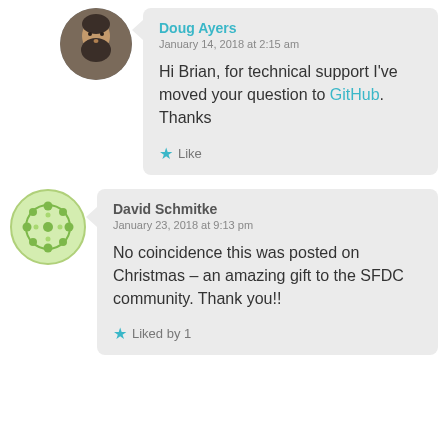[Figure (photo): Circular avatar photo of a man with a beard]
Doug Ayers
January 14, 2018 at 2:15 am
Hi Brian, for technical support I've moved your question to GitHub. Thanks
Like
[Figure (illustration): Circular green decorative snowflake/flower pattern avatar]
David Schmitke
January 23, 2018 at 9:13 pm
No coincidence this was posted on Christmas – an amazing gift to the SFDC community. Thank you!!
Liked by 1